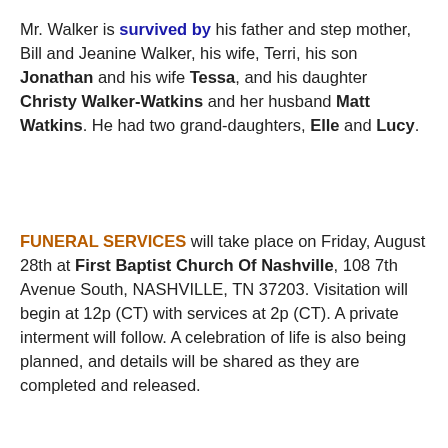Mr. Walker is survived by his father and step mother, Bill and Jeanine Walker, his wife, Terri, his son Jonathan and his wife Tessa, and his daughter Christy Walker-Watkins and her husband Matt Watkins. He had two grand-daughters, Elle and Lucy.
FUNERAL SERVICES will take place on Friday, August 28th at First Baptist Church Of Nashville, 108 7th Avenue South, NASHVILLE, TN 37203. Visitation will begin at 12p (CT) with services at 2p (CT). A private interment will follow. A celebration of life is also being planned, and details will be shared as they are completed and released.
[Figure (photo): Group family photo showing approximately 8-9 people posing together, likely at an event or gathering. Multiple adults of varying ages are visible.]